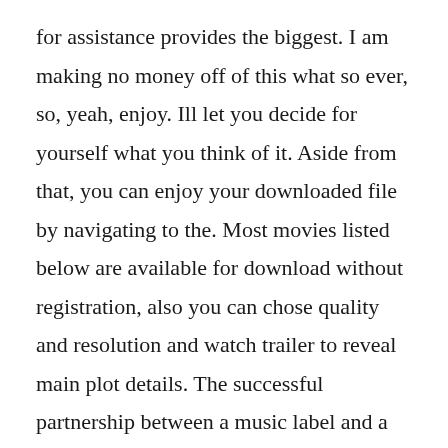for assistance provides the biggest. I am making no money off of this what so ever, so, yeah, enjoy. Ill let you decide for yourself what you think of it. Aside from that, you can enjoy your downloaded file by navigating to the. Most movies listed below are available for download without registration, also you can chose quality and resolution and watch trailer to reveal main plot details. The successful partnership between a music label and a global superstar and the revenue generated finances the investment in discoveries. As a result, holly short to...